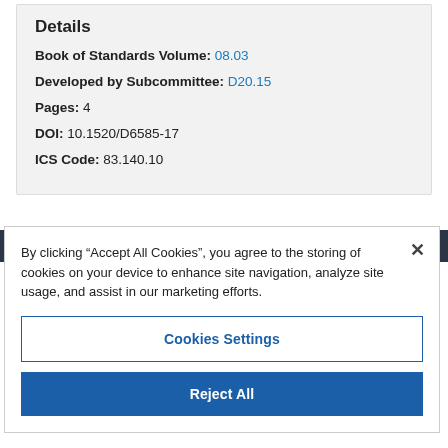Details
Book of Standards Volume: 08.03
Developed by Subcommittee: D20.15
Pages: 4
DOI: 10.1520/D6585-17
ICS Code: 83.140.10
By clicking “Accept All Cookies”, you agree to the storing of cookies on your device to enhance site navigation, analyze site usage, and assist in our marketing efforts.
Cookies Settings
Reject All